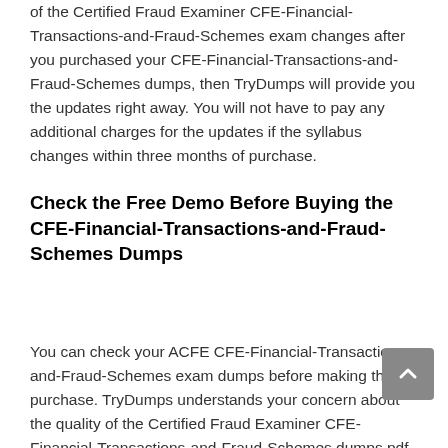of the Certified Fraud Examiner CFE-Financial-Transactions-and-Fraud-Schemes exam changes after you purchased your CFE-Financial-Transactions-and-Fraud-Schemes dumps, then TryDumps will provide you the updates right away. You will not have to pay any additional charges for the updates if the syllabus changes within three months of purchase.
Check the Free Demo Before Buying the CFE-Financial-Transactions-and-Fraud-Schemes Dumps
You can check your ACFE CFE-Financial-Transactions-and-Fraud-Schemes exam dumps before making the purchase. TryDumps understands your concern about the quality of the Certified Fraud Examiner CFE-Financial-Transactions-and-Fraud-Schemes dumps pdf